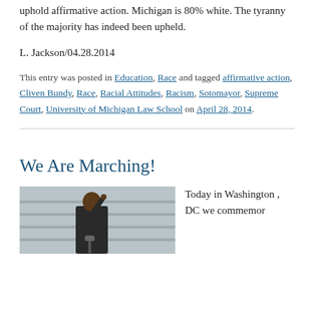uphold affirmative action. Michigan is 80% white. The tyranny of the majority has indeed been upheld.
L. Jackson/04.28.2014
This entry was posted in Education, Race and tagged affirmative action, Cliven Bundy, Race, Racial Attitudes, Racism, Sotomayor, Supreme Court, University of Michigan Law School on April 28, 2014.
We Are Marching!
[Figure (photo): A man in a suit speaking at a podium or microphone on stone steps, pointing upward with one finger. Watermark text visible in upper right corner of the image.]
Today in Washington , DC we commemor